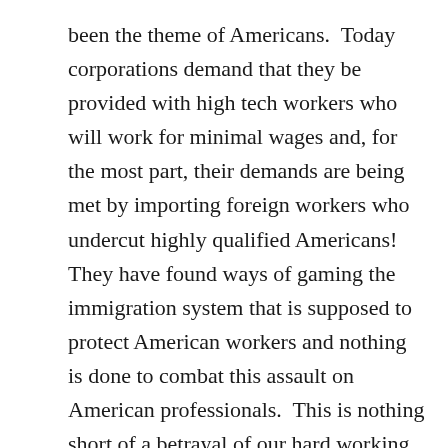been the theme of Americans.  Today corporations demand that they be provided with high tech workers who will work for minimal wages and, for the most part, their demands are being met by importing foreign workers who undercut highly qualified Americans!  They have found ways of gaming the immigration system that is supposed to protect American workers and nothing is done to combat this assault on American professionals.  This is nothing short of a betrayal of our hard working